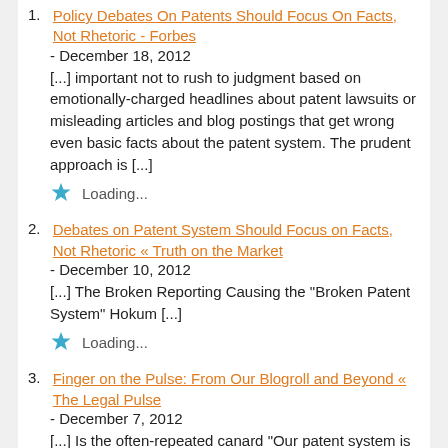1. Policy Debates On Patents Should Focus On Facts, Not Rhetoric - Forbes - December 18, 2012
[...] important not to rush to judgment based on emotionally-charged headlines about patent lawsuits or misleading articles and blog postings that get wrong even basic facts about the patent system. The prudent approach is [...]
Loading...
2. Debates on Patent System Should Focus on Facts, Not Rhetoric « Truth on the Market - December 10, 2012
[...] The Broken Reporting Causing the "Broken Patent System" Hokum [...]
Loading...
3. Finger on the Pulse: From Our Blogroll and Beyond « The Legal Pulse - December 7, 2012
[...] Is the often-repeated canard "Our patent system is broken" a misinformed media creation? (Truth on the Market) [...]
Loading...